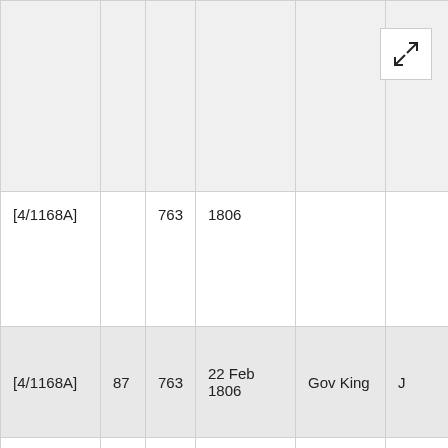| [ref] |  |  | Date | From | To |
| --- | --- | --- | --- | --- | --- |
|  |  |  |  |  |  |
| [4/1168A] |  | 763 | 1806 |  |  |
| [4/1168A] | 87 | 763 | 22 Feb 1806 | Gov King | J |
| [4/1168A] | 87 | 763 | 24 Feb 1806 | J. Conellan | M |